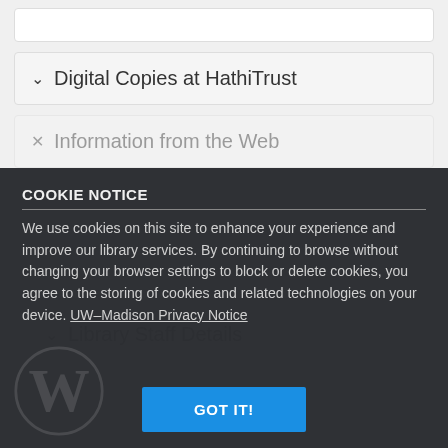Digital Copies at HathiTrust
Information from the Web
Library Staff Details
COOKIE NOTICE
We use cookies on this site to enhance your experience and improve our library services. By continuing to browse without changing your browser settings to block or delete cookies, you agree to the storing of cookies and related technologies on your device. UW–Madison Privacy Notice
GOT IT!